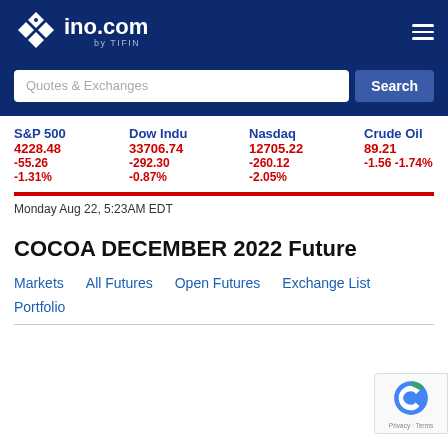ino.com by TIFIN
Quotes & Exchanges
S&P 500 4228.48 -55.26 -1.31% | Dow Indu 33706.74 -292.30 -0.87% | Nasdaq 12705.22 -260.12 -2.05% | Crude Oil 89.21 -1.56 -1.74%
Monday Aug 22, 5:23AM EDT
COCOA DECEMBER 2022 Future
Markets
All Futures
Open Futures
Exchange List
Portfolio